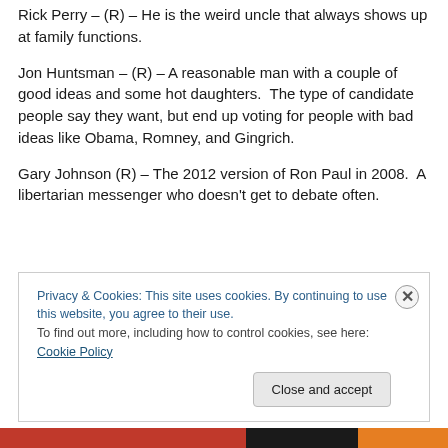Rick Perry – (R) – He is the weird uncle that always shows up at family functions.
Jon Huntsman – (R) – A reasonable man with a couple of good ideas and some hot daughters.  The type of candidate people say they want, but end up voting for people with bad ideas like Obama, Romney, and Gingrich.
Gary Johnson (R) – The 2012 version of Ron Paul in 2008.  A libertarian messenger who doesn't get to debate often.
Privacy & Cookies: This site uses cookies. By continuing to use this website, you agree to their use. To find out more, including how to control cookies, see here: Cookie Policy